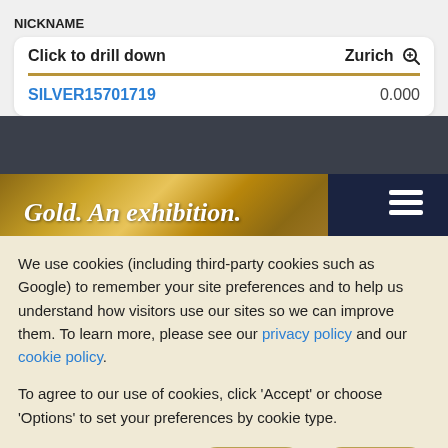NICKNAME
| Click to drill down | Zurich |
| --- | --- |
| SILVER15701719 | 0.000 |
[Figure (photo): Gold exhibition banner image showing golden ridged metallic surface with text 'Gold. An exhibition.' overlaid in italic white font]
We use cookies (including third-party cookies such as Google) to remember your site preferences and to help us understand how visitors use our sites so we can improve them. To learn more, please see our privacy policy and our cookie policy.
To agree to our use of cookies, click 'Accept' or choose 'Options' to set your preferences by cookie type.